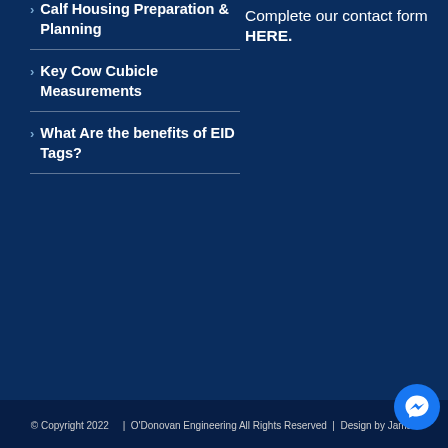Calf Housing Preparation & Planning
Key Cow Cubicle Measurements
What Are the benefits of EID Tags?
Complete our contact form HERE.
© Copyright 2022     |  O'Donovan Engineering All Rights Reserved  |  Design by JamJo